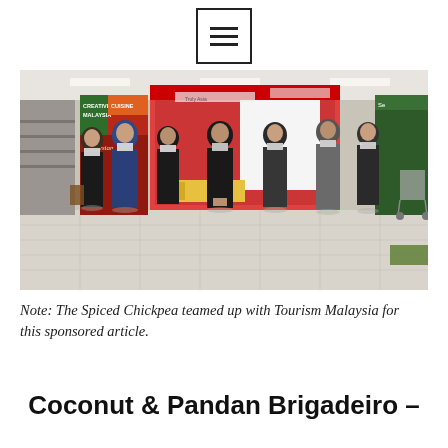[Figure (other): Menu/hamburger icon — three horizontal lines inside a square border]
[Figure (photo): Group of seven people wearing face masks standing inside a supermarket in front of a Malaysia cuisine promotional display with banners including 'Truly Asia' and 'Cuisine Malaysia'. The store has grocery shelves and fluorescent lighting visible in the background.]
Note: The Spiced Chickpea teamed up with Tourism Malaysia for this sponsored article.
Coconut & Pandan Brigadeiro –